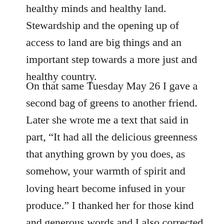healthy minds and healthy land. Stewardship and the opening up of access to land are big things and an important step towards a more just and healthy country.
On that same Tuesday May 26 I gave a second bag of greens to another friend. Later she wrote me a text that said in part, “It had all the delicious greenness that anything grown by you does, as somehow, your warmth of spirit and loving heart become infused in your produce.” I thanked her for those kind and generous words and I also corrected her. It was not my personal qualities she tasted but the qualities of really good soil. The deliciousness Edna Lewis experienced in Freetown Virginia in the 1920’s came not just by fresh home grown food it came from healthy farming and gardening practices. Healthy soil produces food with more